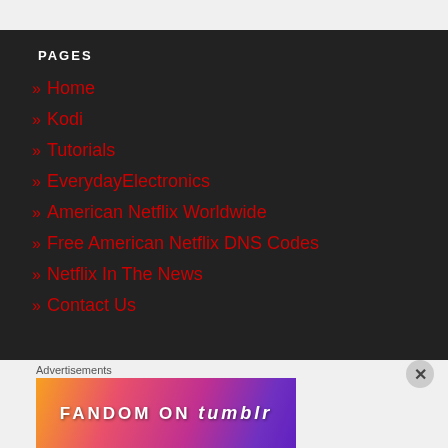PAGES
» Home
» Kodi
» Tutorials
» EverydayElectronics
» American Netflix Worldwide
» Free American Netflix DNS Codes
» Netflix In The News
» Contact Us
Advertisements
[Figure (other): Fandom on Tumblr advertisement banner with colorful gradient background]